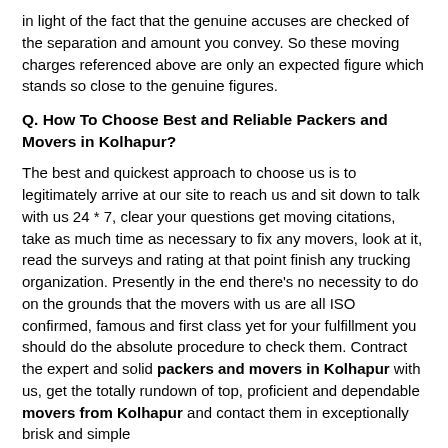in light of the fact that the genuine accuses are checked of the separation and amount you convey. So these moving charges referenced above are only an expected figure which stands so close to the genuine figures.
Q. How To Choose Best and Reliable Packers and Movers in Kolhapur?
The best and quickest approach to choose us is to legitimately arrive at our site to reach us and sit down to talk with us 24 * 7, clear your questions get moving citations, take as much time as necessary to fix any movers, look at it, read the surveys and rating at that point finish any trucking organization. Presently in the end there's no necessity to do on the grounds that the movers with us are all ISO confirmed, famous and first class yet for your fulfillment you should do the absolute procedure to check them. Contract the expert and solid packers and movers in Kolhapur with us, get the totally rundown of top, proficient and dependable movers from Kolhapur and contact them in exceptionally brisk and simple
B1 Call Now: 7227979925
B1 Whatsapp Now: 7227979925
Q. ... ems During Shifting in Kolhapur?